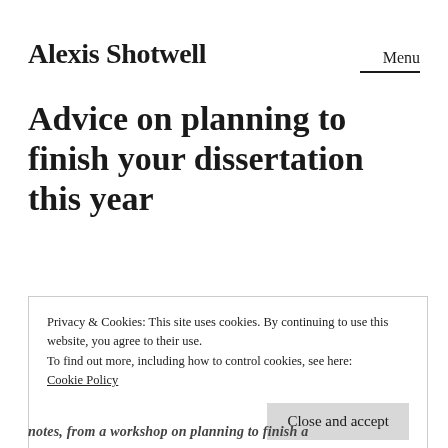Alexis Shotwell
Advice on planning to finish your dissertation this year
Privacy & Cookies: This site uses cookies. By continuing to use this website, you agree to their use.
To find out more, including how to control cookies, see here: Cookie Policy
Close and accept
notes, from a workshop on planning to finish a